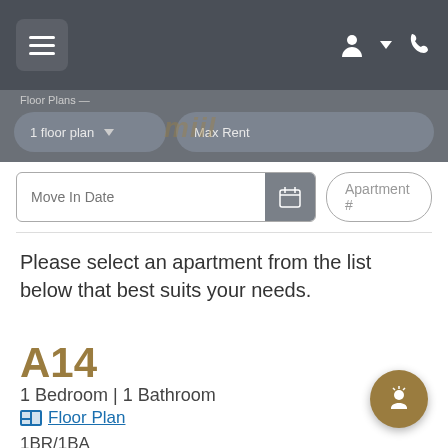Floor Plans — 1 floor plan | Max Rent
[Figure (screenshot): Navigation bar with hamburger menu button on left and user/phone icons on right on dark gray background]
Move In Date | Apartment #
Please select an apartment from the list below that best suits your needs.
A14
1 Bedroom | 1 Bathroom
Floor Plan
1BR/1BA